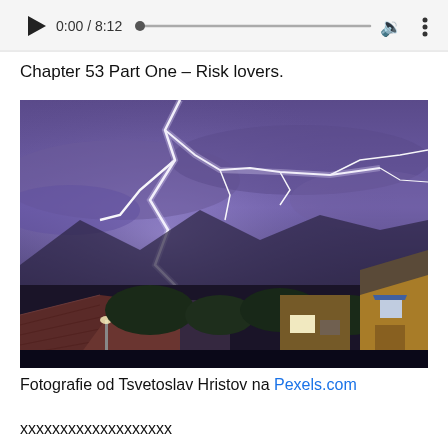[Figure (screenshot): Audio player bar showing play button, time 0:00 / 8:12, progress bar with dot at start, volume icon, and more options icon]
Chapter 53 Part One – Risk lovers.
[Figure (photo): Night photography of a dramatic lightning storm over a residential neighborhood. Multiple lightning bolts illuminate a purple-blue sky over rooftops and trees, with mountains visible in the background. Houses with tile roofs and a yellow building are visible.]
Fotografie od Tsvetoslav Hristov na Pexels.com
xxxxxxxxxxxxxxxxxxx